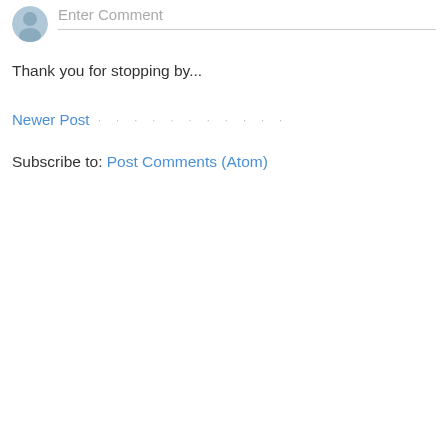[Figure (illustration): User avatar icon — a generic grey silhouette of a person in a circle]
Enter Comment
Thank you for stopping by...
Newer Post
Subscribe to: Post Comments (Atom)